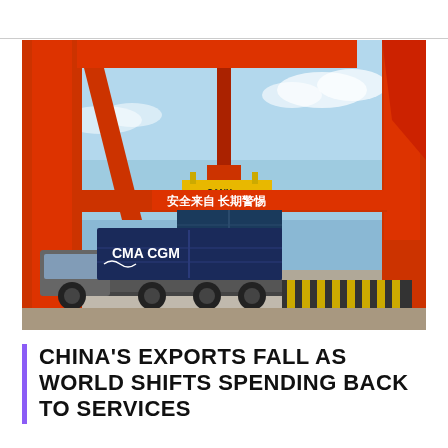[Figure (photo): A CMA CGM shipping container being lifted by a large red gantry crane at a Chinese port, with a truck carrying the container below and Chinese safety signage visible on the crane structure. The scene shows a busy port terminal under a blue sky.]
CHINA'S EXPORTS FALL AS WORLD SHIFTS SPENDING BACK TO SERVICES